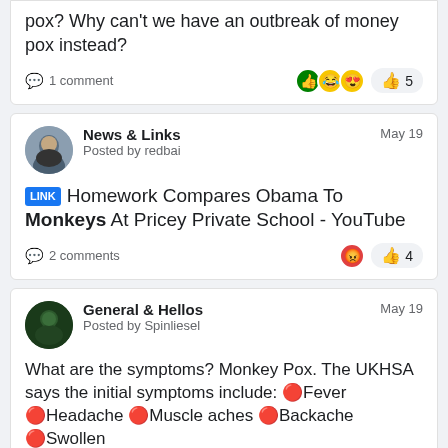pox? Why can't we have an outbreak of money pox instead?
1 comment · 5 likes
News & Links · Posted by redbai · May 19
LINK Homework Compares Obama To Monkeys At Pricey Private School - YouTube
2 comments · 4 likes
General & Hellos · Posted by Spinliesel · May 19
What are the symptoms? Monkey Pox. The UKHSA says the initial symptoms include: 🔴Fever 🔴Headache 🔴Muscle aches 🔴Backache 🔴Swollen